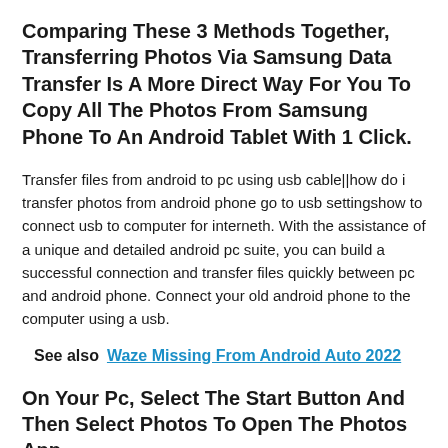Comparing These 3 Methods Together, Transferring Photos Via Samsung Data Transfer Is A More Direct Way For You To Copy All The Photos From Samsung Phone To An Android Tablet With 1 Click.
Transfer files from android to pc using usb cable||how do i transfer photos from android phone go to usb settingshow to connect usb to computer for interneth. With the assistance of a unique and detailed android pc suite, you can build a successful connection and transfer files quickly between pc and android phone. Connect your old android phone to the computer using a usb.
See also  Waze Missing From Android Auto 2022
On Your Pc, Select The Start Button And Then Select Photos To Open The Photos App.